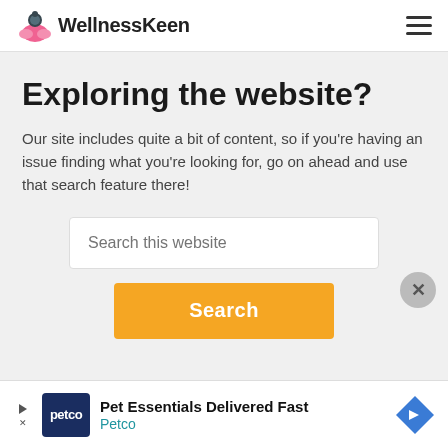WellnessKeen
Exploring the website?
Our site includes quite a bit of content, so if you're having an issue finding what you're looking for, go on ahead and use that search feature there!
Search this website
Search
[Figure (screenshot): Ad banner for Petco: 'Pet Essentials Delivered Fast' with Petco logo and navigation arrow icon]